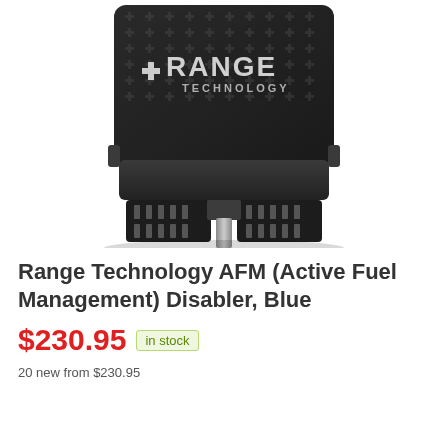[Figure (photo): Black OBD2 dongle device with Range Technology logo on the face, showing connector pins at the bottom. The device has a dark cross-hatch pattern on the top surface with a silver Range Technology logo.]
Range Technology AFM (Active Fuel Management) Disabler, Blue
$230.95  in stock
20 new from $230.95